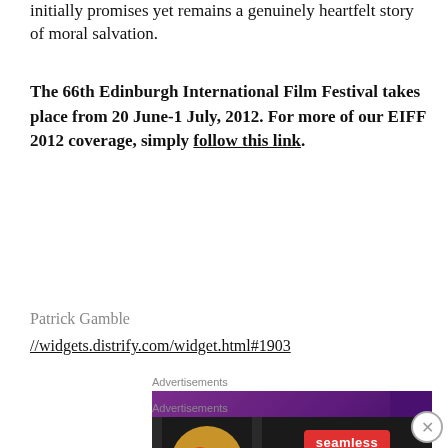initially promises yet remains a genuinely heartfelt story of moral salvation.
The 66th Edinburgh International Film Festival takes place from 20 June-1 July, 2012. For more of our EIFF 2012 coverage, simply follow this link.
Patrick Gamble
//widgets.distrify.com/widget.html#1903
Advertisements
[Figure (infographic): WooCommerce advertisement banner with purple gradient background and WooCommerce logo text in white]
Advertisements
[Figure (infographic): Seamless food delivery advertisement with pizza image, red Seamless logo button, and ORDER NOW button on dark background]